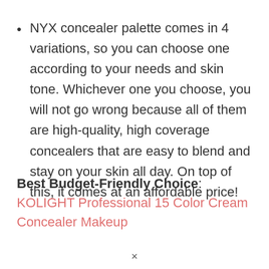NYX concealer palette comes in 4 variations, so you can choose one according to your needs and skin tone. Whichever one you choose, you will not go wrong because all of them are high-quality, high coverage concealers that are easy to blend and stay on your skin all day. On top of this, it comes at an affordable price!
Best Budget-Friendly Choice: KOLIGHT Professional 15 Color Cream Concealer Makeup
×